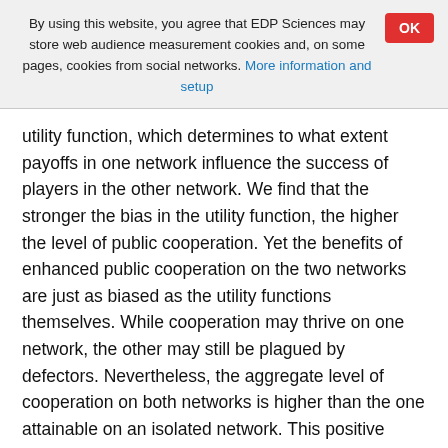By using this website, you agree that EDP Sciences may store web audience measurement cookies and, on some pages, cookies from social networks. More information and setup
utility function, which determines to what extent payoffs in one network influence the success of players in the other network. We find that the stronger the bias in the utility function, the higher the level of public cooperation. Yet the benefits of enhanced public cooperation on the two networks are just as biased as the utility functions themselves. While cooperation may thrive on one network, the other may still be plagued by defectors. Nevertheless, the aggregate level of cooperation on both networks is higher than the one attainable on an isolated network. This positive effect of biased utility functions is due to the suppressed feedback of individual success, which leads to a spontaneous separation of characteristic time scales of the evolutionary process on the two interdependent networks. As a result, cooperation is